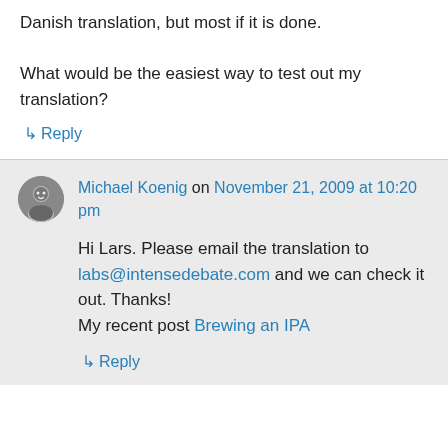Danish translation, but most if it is done.

What would be the easiest way to test out my translation?
↳ Reply
Michael Koenig on November 21, 2009 at 10:20 pm
Hi Lars. Please email the translation to labs@intensedebate.com and we can check it out. Thanks!
My recent post Brewing an IPA
↳ Reply